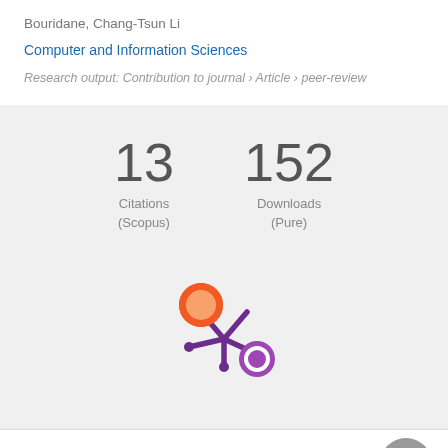Bouridane, Chang-Tsun Li
Computer and Information Sciences
Research output: Contribution to journal › Article › peer-review
13
Citations
(Scopus)
152
Downloads
(Pure)
[Figure (logo): Altmetric logo — orange circle and purple asterisk-like splat with purple circle]
Overview   Fingerprint